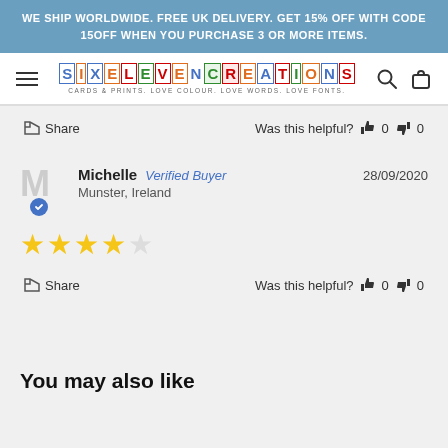WE SHIP WORLDWIDE. FREE UK DELIVERY. GET 15% OFF WITH CODE 15OFF WHEN YOU PURCHASE 3 OR MORE ITEMS.
[Figure (logo): SixEleven Creations logo with colourful letter tiles. Tagline: CARDS & PRINTS. LOVE COLOUR. LOVE WORDS. LOVE FONTS.]
Share  Was this helpful? 0  0
Michelle  Verified Buyer  28/09/2020  Munster, Ireland
[Figure (other): Four yellow star rating (4 out of 5 stars)]
Share  Was this helpful? 0  0
You may also like